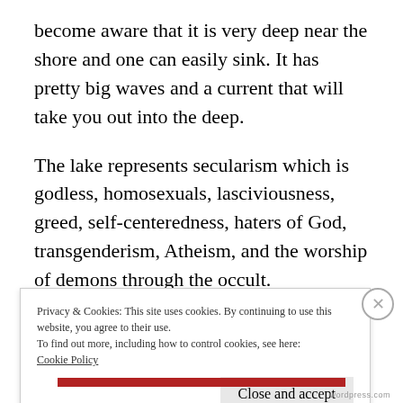become aware that it is very deep near the shore and one can easily sink. It has pretty big waves and a current that will take you out into the deep.
The lake represents secularism which is godless, homosexuals, lasciviousness, greed, self-centeredness, haters of God, transgenderism, Atheism, and the worship of demons through the occult.
Privacy & Cookies: This site uses cookies. By continuing to use this website, you agree to their use.
To find out more, including how to control cookies, see here: Cookie Policy